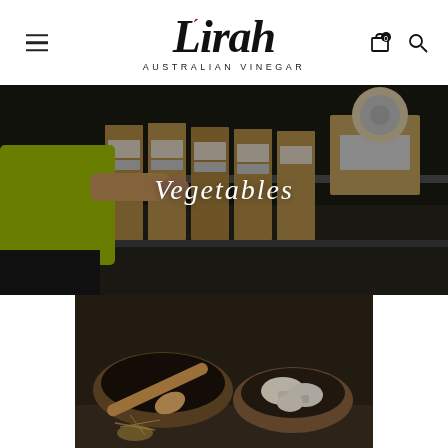[Figure (logo): Lirah Australian Vinegar logo with italic serif font and red accent mark over the i]
[Figure (photo): Worker in yellow hi-vis shirt sorting or retrieving brown cardboard boxes/packages on a shelving rack in a warehouse]
Vegetables
[Figure (photo): Dark moody food photo showing wooden bowls, a wooden spoon, and a bowl of white mushrooms on a dark surface with scattered grains]